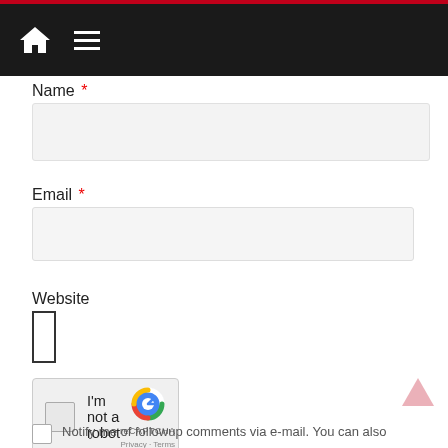Navigation bar with home icon and menu icon
Name *
Email *
Website
[Figure (screenshot): reCAPTCHA widget with checkbox and 'I'm not a robot' text, reCAPTCHA logo, Privacy and Terms links]
Notify me of followup comments via e-mail. You can also